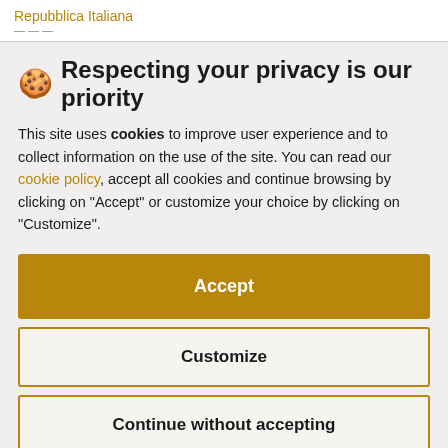Repubblica Italiana
🍪 Respecting your privacy is our priority
This site uses cookies to improve user experience and to collect information on the use of the site. You can read our cookie policy, accept all cookies and continue browsing by clicking on "Accept" or customize your choice by clicking on "Customize".
Accept
Customize
Continue without accepting